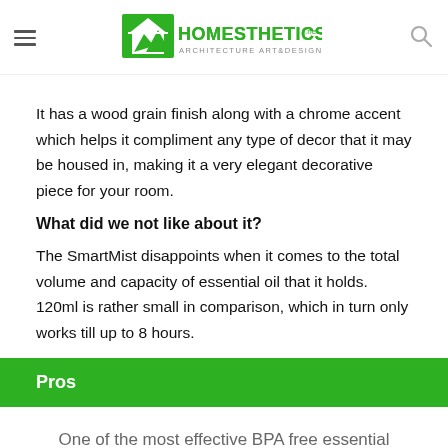HOMESTHETICS — Architecture Art & Design
It has a wood grain finish along with a chrome accent which helps it compliment any type of decor that it may be housed in, making it a very elegant decorative piece for your room.
What did we not like about it?
The SmartMist disappoints when it comes to the total volume and capacity of essential oil that it holds. 120ml is rather small in comparison, which in turn only works till up to 8 hours.
Pros
One of the most effective BPA free essential